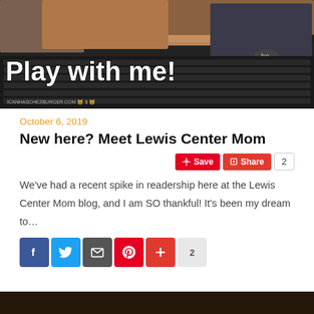[Figure (photo): Cat sitting on a laptop keyboard with text overlay 'Play with me!' and watermark 'ICANHASCHEZBURGER.COM']
October 6, 2019
New here? Meet Lewis Center Mom
We’ve had a recent spike in readership here at the Lewis Center Mom blog, and I am SO thankful! It’s been my dream to…
[Figure (photo): Partial bottom image, dark/brown tones, cut off at page bottom]